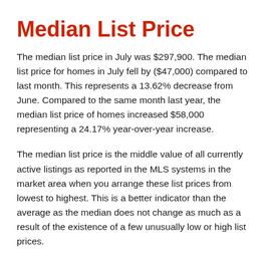Median List Price
The median list price in July was $297,900. The median list price for homes in July fell by ($47,000) compared to last month. This represents a 13.62% decrease from June. Compared to the same month last year, the median list price of homes increased $58,000 representing a 24.17% year-over-year increase.
The median list price is the middle value of all currently active listings as reported in the MLS systems in the market area when you arrange these list prices from lowest to highest. This is a better indicator than the average as the median does not change as much as a result of the existence of a few unusually low or high list prices.